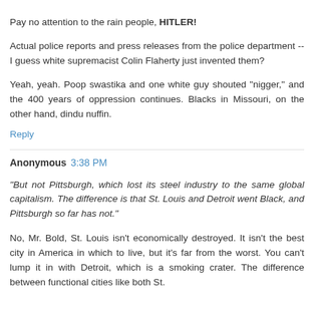Pay no attention to the rain people, HITLER!
Actual police reports and press releases from the police department -- I guess white supremacist Colin Flaherty just invented them?
Yeah, yeah. Poop swastika and one white guy shouted "nigger," and the 400 years of oppression continues. Blacks in Missouri, on the other hand, dindu nuffin.
Reply
Anonymous 3:38 PM
"But not Pittsburgh, which lost its steel industry to the same global capitalism. The difference is that St. Louis and Detroit went Black, and Pittsburgh so far has not."
No, Mr. Bold, St. Louis isn't economically destroyed. It isn't the best city in America in which to live, but it's far from the worst. You can't lump it in with Detroit, which is a smoking crater. The difference between functional cities like both St. Louis and Pittsburgh versus the ruined Detroit is that the